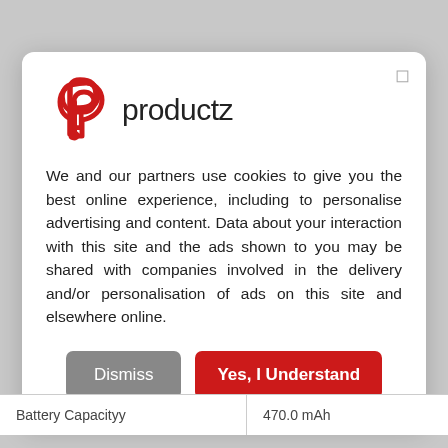[Figure (logo): Productz logo: red stylized P icon and 'productz' text in dark gray]
We and our partners use cookies to give you the best online experience, including to personalise advertising and content. Data about your interaction with this site and the ads shown to you may be shared with companies involved in the delivery and/or personalisation of ads on this site and elsewhere online.
Dismiss
Yes, I Understand
| Battery Capacityy | 470.0 mAh |